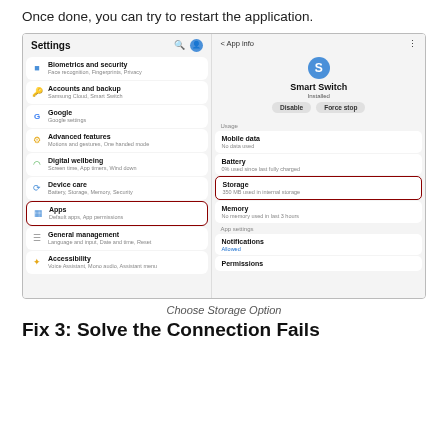Once done, you can try to restart the application.
[Figure (screenshot): Two Android phone screens side by side. Left screen shows Samsung Settings menu with items: Biometrics and security, Accounts and backup, Google, Advanced features, Digital wellbeing, Device care, Apps (highlighted with red border), General management, Accessibility. Right screen shows App info for Smart Switch app with options: Disable, Force stop, and sections for Mobile data, Battery, Storage (highlighted with red border, showing 350 MB used in internal storage), Memory, App settings, Notifications (Allowed), Permissions.]
Choose Storage Option
Fix 3: Solve the Connection Fails